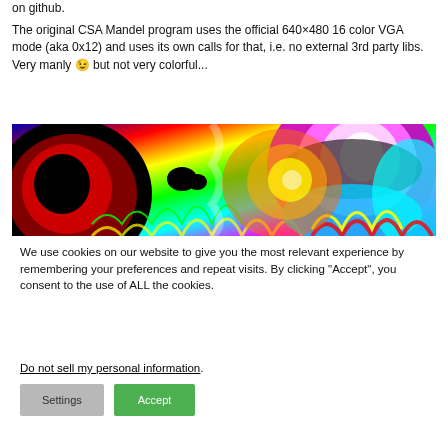on github.
The original CSA Mandel program uses the official 640×480 16 color VGA mode (aka 0x12) and uses its own calls for that, i.e. no external 3rd party libs. Very manly 😉 but not very colorful...
[Figure (photo): Colorful fractal Mandelbrot set image showing swirling rainbow-colored regions with black areas and psychedelic color gradients]
We use cookies on our website to give you the most relevant experience by remembering your preferences and repeat visits. By clicking "Accept", you consent to the use of ALL the cookies.
Do not sell my personal information.